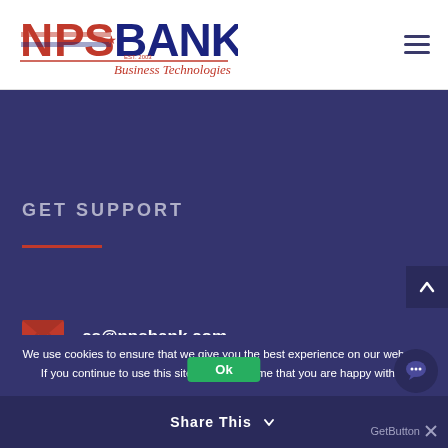[Figure (logo): NPS Bank Business Technologies logo with American flag design]
GET SUPPORT
cs@npsbank.com
We use cookies to ensure that we give you the best experience on our website. If you continue to use this site we will assume that you are happy with it.
Share This